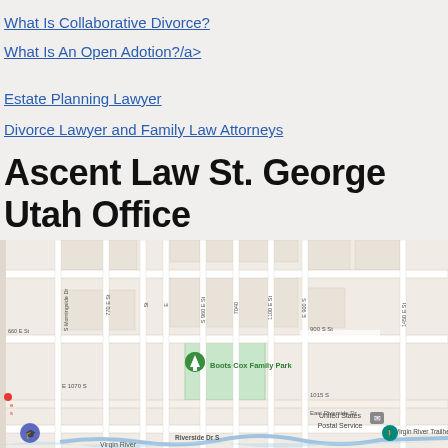What Is Collaborative Divorce?
What Is An Open Adotion?/a>
Estate Planning Lawyer
Divorce Lawyer and Family Law Attorneys
Ascent Law St. George Utah Office
[Figure (map): Google Maps view of Ascent Law St. George Utah Office area showing Boots Cox Family Park, United States Postal Service, Virgin River Trailhead, street grid with labels including 900 S St, E 1070 S, Riverside Dr S, East Riverside Dr, and Virgin River.]